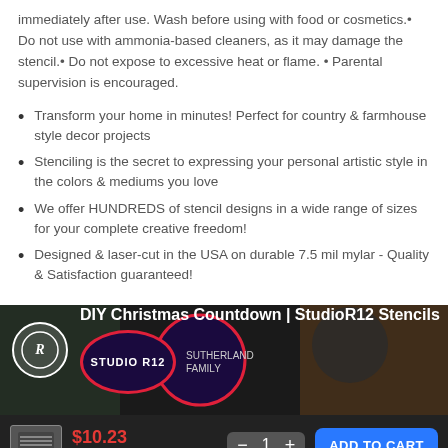immediately after use. Wash before using with food or cosmetics.• Do not use with ammonia-based cleaners, as it may damage the stencil.• Do not expose to excessive heat or flame. • Parental supervision is encouraged.
Transform your home in minutes! Perfect for country & farmhouse style decor projects
Stenciling is the secret to expressing your personal artistic style in the colors & mediums you love
We offer HUNDREDS of stencil designs in a wide range of sizes for your complete creative freedom!
Designed & laser-cut in the USA on durable 7.5 mil mylar - Quality & Satisfaction guaranteed!
[Figure (screenshot): Video thumbnail for DIY Christmas Countdown | StudioR12 Stencils featuring a logo circle, title text, Studio R12 badge, and a person smiling in the background]
$10.23 $14.61 — 1 + ADD TO CART